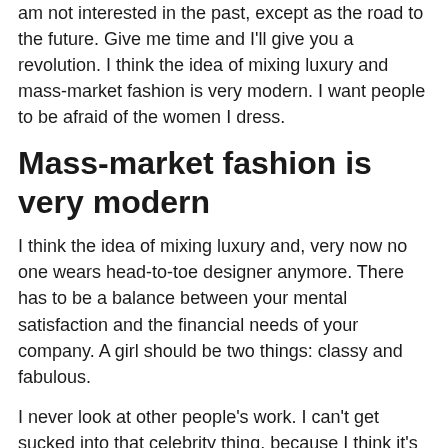am not interested in the past, except as the road to the future. Give me time and I'll give you a revolution. I think the idea of mixing luxury and mass-market fashion is very modern. I want people to be afraid of the women I dress.
Mass-market fashion is very modern
I think the idea of mixing luxury and, very now no one wears head-to-toe designer anymore. There has to be a balance between your mental satisfaction and the financial needs of your company. A girl should be two things: classy and fabulous.
I never look at other people's work. I can't get sucked into that celebrity thing, because I think it's just crass. Give me time and I'll give you a revolution. I can't get sucked into that celebrity thing, because I think it's just crass.
I never look at other people's work, you should always love something you